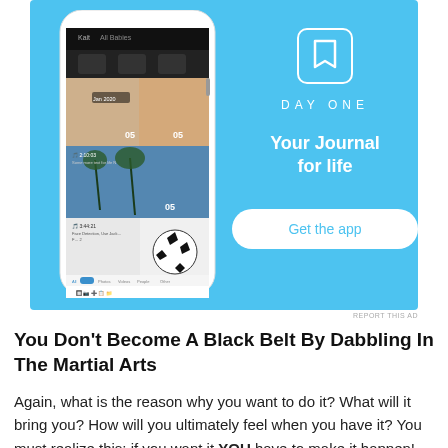[Figure (screenshot): Advertisement for Day One journaling app. Shows an iPhone screenshot of the app on the left with photo journal entries. On the right side, a blue background with Day One logo (bookmark icon), the text 'DAY ONE', tagline 'Your Journal for life', and a white button 'Get the app'.]
REPORT THIS AD
You Don't Become A Black Belt By Dabbling In The Martial Arts
Again,  what is the reason why you want to do it? What will it bring you? How will you ultimately feel when you have it? You must realize this: if you want it YOU have to make it happen! You'll work with others to do that ,but it's not gonna land in your lap